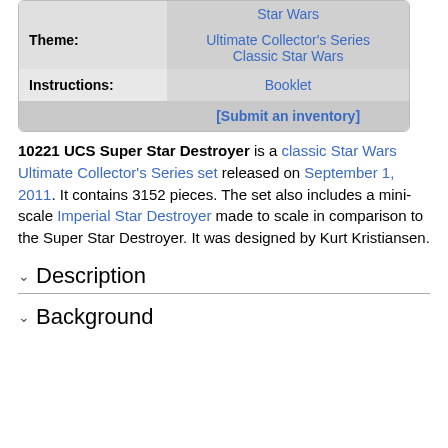| Label | Value |
| --- | --- |
|  | Star Wars |
| Theme: | Ultimate Collector's Series
Classic Star Wars |
| Instructions: | Booklet |
|  | [Submit an inventory] |
10221 UCS Super Star Destroyer is a classic Star Wars Ultimate Collector's Series set released on September 1, 2011. It contains 3152 pieces. The set also includes a mini-scale Imperial Star Destroyer made to scale in comparison to the Super Star Destroyer. It was designed by Kurt Kristiansen.
Description
Background